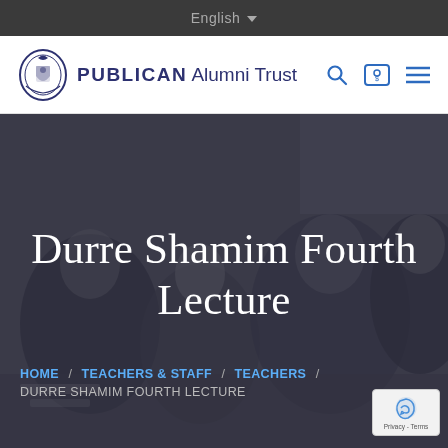English
[Figure (logo): PUBLICAN Alumni Trust logo with emblem and bold text]
[Figure (photo): Background photo of school students in a classroom writing, overlaid with dark semi-transparent layer. Hero banner for Durre Shamim Fourth Lecture page.]
Durre Shamim Fourth Lecture
HOME / TEACHERS & STAFF / TEACHERS / DURRE SHAMIM FOURTH LECTURE